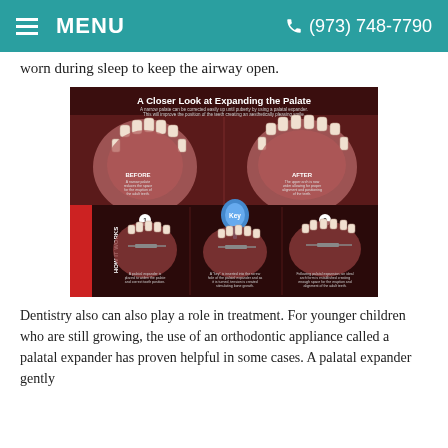MENU   (973) 748-7790
worn during sleep to keep the airway open.
[Figure (illustration): Dental infographic titled 'A Closer Look at Expanding the Palate' showing before and after views of palate expansion, and a 'How It Works' section with 3 steps showing a palatal expander being used with a key to stimulate bone growth. © 2012 Dear Doctor, Inc.]
Dentistry also can also play a role in treatment. For younger children who are still growing, the use of an orthodontic appliance called a palatal expander has proven helpful in some cases. A palatal expander gently